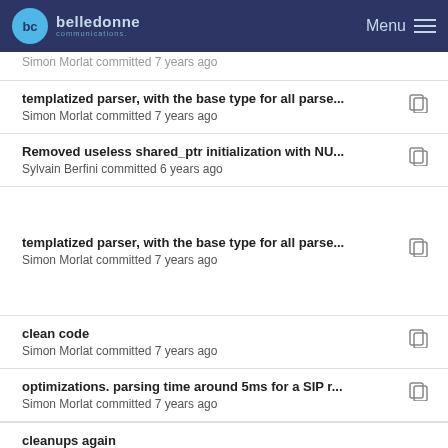belledonne communications — Menu
Simon Morlat committed 7 years ago
templatized parser, with the base type for all parse... — Simon Morlat committed 7 years ago
Removed useless shared_ptr initialization with NU... — Sylvain Berfini committed 6 years ago
templatized parser, with the base type for all parse... — Simon Morlat committed 7 years ago
clean code — Simon Morlat committed 7 years ago
optimizations. parsing time around 5ms for a SIP r... — Simon Morlat committed 7 years ago
cleanups again